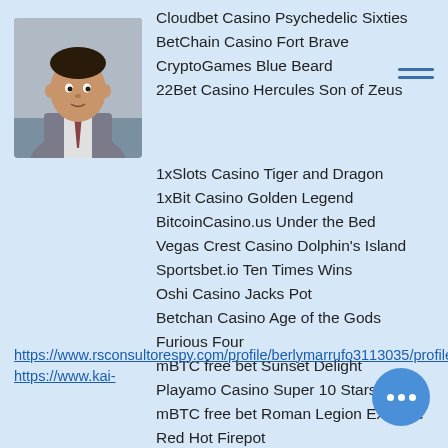[Figure (photo): Avatar photo of a man in a suit]
Cloudbet Casino Psychedelic Sixties
BetChain Casino Fort Brave
CryptoGames Blue Beard
22Bet Casino Hercules Son of Zeus
1xSlots Casino Tiger and Dragon
1xBit Casino Golden Legend
BitcoinCasino.us Under the Bed
Vegas Crest Casino Dolphin's Island
Sportsbet.io Ten Times Wins
Oshi Casino Jacks Pot
Betchan Casino Age of the Gods Furious Four
mBTC free bet Sunset Delight
Playamo Casino Super 10 Stars
mBTC free bet Roman Legion Extreme Red Hot Firepot
Betcoin.ag Casino Wunderfest Deluxe
https://www.rsconsultorespy.com/profile/berlymarrufo3113035/profile
https://www.kai-